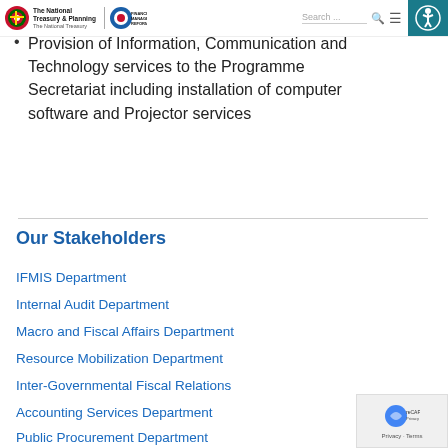The National Treasury & Planning | Financial Management Reforms | Search
Provision of Information, Communication and Technology services to the Programme Secretariat including installation of computer software and Projector services
Our Stakeholders
IFMIS Department
Internal Audit Department
Macro and Fiscal Affairs Department
Resource Mobilization Department
Inter-Governmental Fiscal Relations
Accounting Services Department
Public Procurement Department